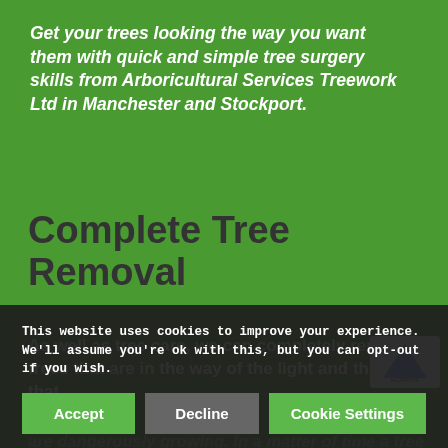Get your trees looking the way you want them with quick and simple tree surgery skills from Arboricultural Services Treework Ltd in Manchester and Stockport.
Complete Tree Removal
As well as tree care, we can completely remove trees that are in the way of the light and those that are dangerously growing. In a matter of time a tree that was one a tiny sapling can quickly grow to take over your garden area and be harder to deal with, so act quickly and remove those trees that are... our lands...
This website uses cookies to improve your experience. We'll assume you're ok with this, but you can opt-out if you wish.